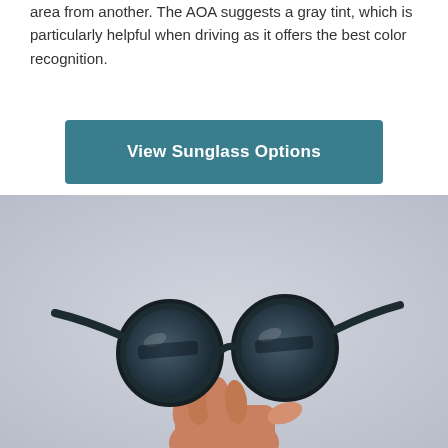area from another. The AOA suggests a gray tint, which is particularly helpful when driving as it offers the best color recognition.
View Sunglass Options
[Figure (photo): A hand holding up a pair of round dark-framed sunglasses against a light gray background, viewed from below.]